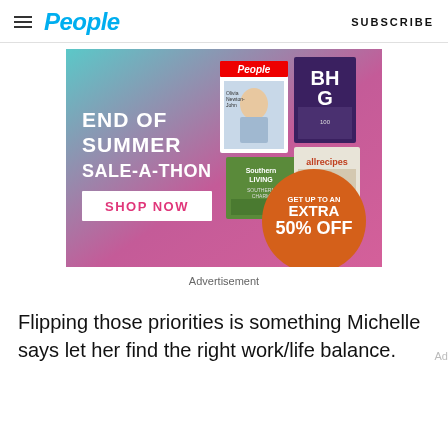People | SUBSCRIBE
[Figure (infographic): End of Summer Sale-A-Thon advertisement banner for People magazine subscription featuring magazines (People, Southern Living, BHG, allrecipes) and an orange circle with 'GET UP TO AN EXTRA 50% OFF'. Includes a 'SHOP NOW' button.]
Advertisement
Flipping those priorities is something Michelle says let her find the right work/life balance.